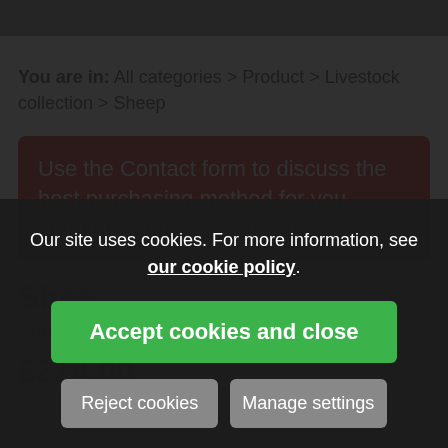You are in: All categories > Product > Livestock collection > Sheep
Use the Contact form to discuss the best purchasing method for you... Start building your collection today!
Our site uses cookies. For more information, see our cookie policy.
Accept cookies and close
Reject cookies
Manage settings
Shee...
Code: 91511
£274.00